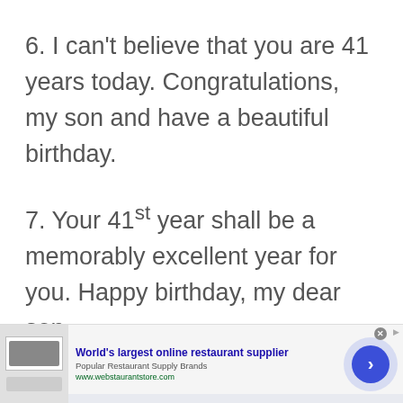6. I can't believe that you are 41 years today. Congratulations, my son and have a beautiful birthday.
7. Your 41st year shall be a memorably excellent year for you. Happy birthday, my dear son.
[Figure (screenshot): Advertisement banner for webrestaurantstore.com: 'World's largest online restaurant supplier', Popular Restaurant Supply Brands, www.webstaurantstore.com, with logo and arrow button]